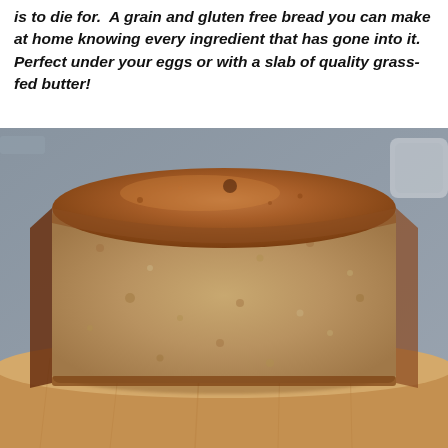is to die for. A grain and gluten free bread you can make at home knowing every ingredient that has gone into it. Perfect under your eggs or with a slab of quality grass-fed butter!
[Figure (photo): A loaf of grain and gluten free bread, sliced to show the interior crumb, sitting on a wooden cutting board. The crust is golden brown and the interior is light tan with a dense, moist texture.]